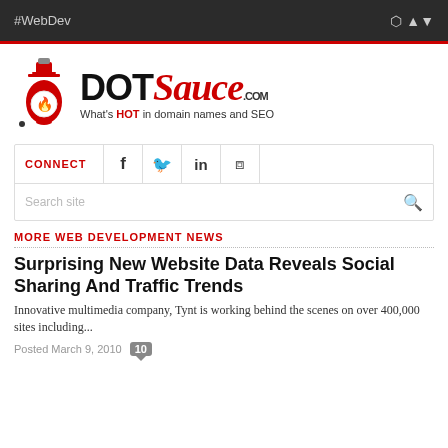#WebDev
[Figure (logo): DotSauce.com logo with hot sauce bottle illustration and tagline: What's HOT in domain names and SEO]
CONNECT (social icons: Facebook, Twitter, LinkedIn, RSS) | Search site
MORE WEB DEVELOPMENT NEWS
Surprising New Website Data Reveals Social Sharing And Traffic Trends
Innovative multimedia company, Tynt is working behind the scenes on over 400,000 sites including...
Posted March 9, 2010  10